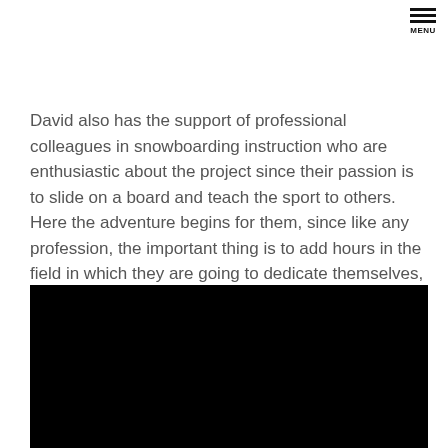MENU
David also has the support of professional colleagues in snowboarding instruction who are enthusiastic about the project since their passion is to slide on a board and teach the sport to others. Here the adventure begins for them, since like any profession, the important thing is to add hours in the field in which they are going to dedicate themselves, in this case, spend hours sliding down the dunes.
[Figure (photo): A black rectangular image area, likely a video embed or dark photograph.]